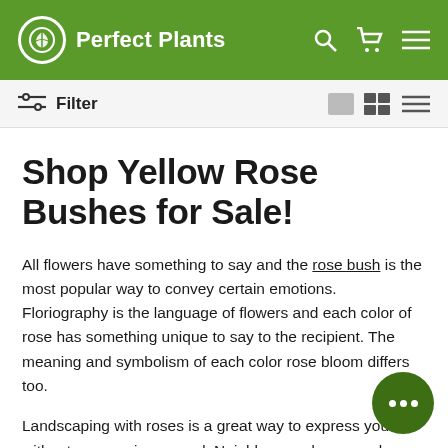Perfect Plants
Filter
Shop Yellow Rose Bushes for Sale!
All flowers have something to say and the rose bush is the most popular way to convey certain emotions. Floriography is the language of flowers and each color of rose has something unique to say to the recipient. The meaning and symbolism of each color rose bloom differs too.
Landscaping with roses is a great way to express yourself without ever saying a word. Neighbors and passers-by can admire the beauty of the roses in your landscape and